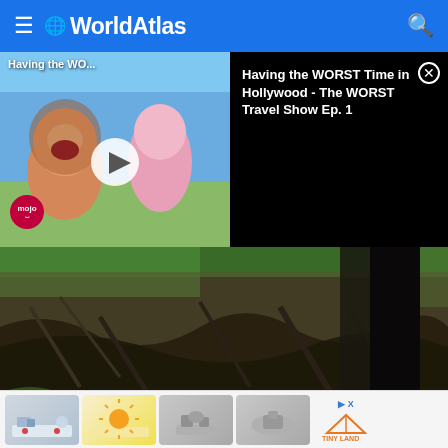WorldAtlas
[Figure (screenshot): Video thumbnail showing animated cartoon characters (SpongeBob SquarePants style) with play button overlay and 'Having the WO...' title, and video info panel showing 'Having the WORST Time in Hollywood - The WORST Travel Show Ep. 1' on black background]
[Figure (photo): Nature photograph showing tree roots, branches and ground cover in a forest/wetland setting with green foliage visible]
Epochs In World History Since The Extinction Of The Dinosaurs
[Figure (photo): Partial preview image of an ancient artifact or historical object in brown/gold tones]
[Figure (infographic): Advertisement strip showing toy product images and Tiny Land brand logo]